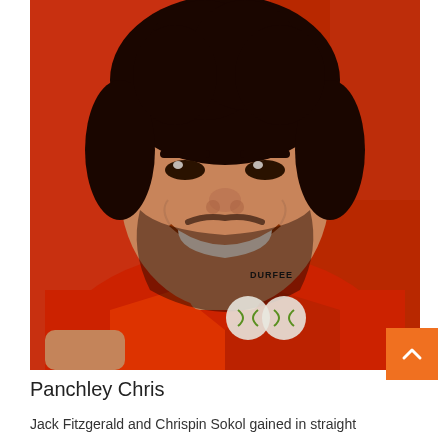[Figure (photo): Headshot photo of young man with curly dark hair and beard, smiling broadly, wearing a red Durfee polo shirt with tennis ball logo, against a red background]
Panchley Chris
Jack Fitzgerald and Chrispin Sokol gained in straight